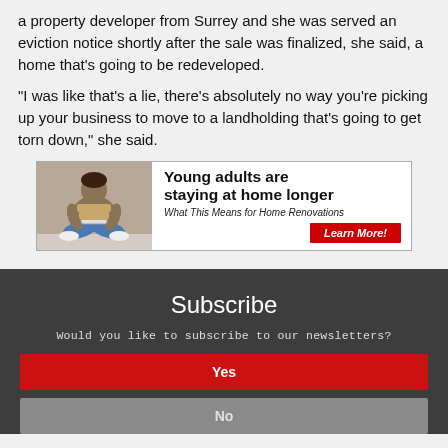a property developer from Surrey and she was served an eviction notice shortly after the sale was finalized, she said, a home that's going to be redeveloped.
"I was like that's a lie, there’s absolutely no way you’re picking up your business to move to a landholding that’s going to get torn down," she said.
[Figure (infographic): Advertisement banner: Young adults are staying at home longer. What This Means for Home Renovations. Learn More! button. Shows a person sitting cross-legged holding a tablet.]
Subscribe
Would you like to subscribe to our newsletters?
Yes
No